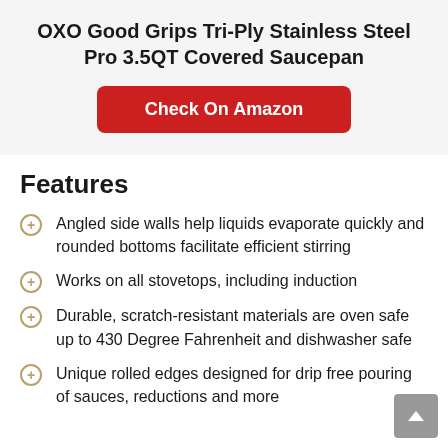OXO Good Grips Tri-Ply Stainless Steel Pro 3.5QT Covered Saucepan
Check On Amazon
Features
Angled side walls help liquids evaporate quickly and rounded bottoms facilitate efficient stirring
Works on all stovetops, including induction
Durable, scratch-resistant materials are oven safe up to 430 Degree Fahrenheit and dishwasher safe
Unique rolled edges designed for drip free pouring of sauces, reductions and more